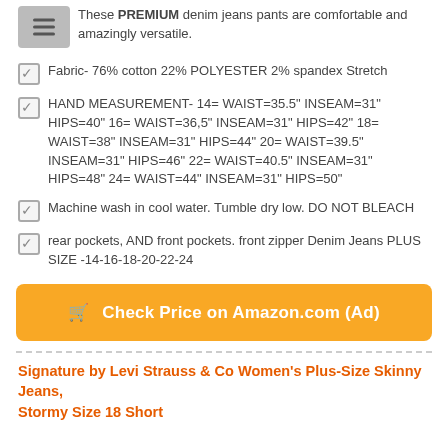These PREMIUM denim jeans pants are comfortable and amazingly versatile.
Fabric- 76% cotton 22% POLYESTER 2% spandex Stretch
HAND MEASUREMENT- 14= WAIST=35.5" INSEAM=31" HIPS=40" 16= WAIST=36,5" INSEAM=31" HIPS=42" 18= WAIST=38" INSEAM=31" HIPS=44" 20= WAIST=39.5" INSEAM=31" HIPS=46" 22= WAIST=40.5" INSEAM=31" HIPS=48" 24= WAIST=44" INSEAM=31" HIPS=50"
Machine wash in cool water. Tumble dry low. DO NOT BLEACH
rear pockets, AND front pockets. front zipper Denim Jeans PLUS SIZE -14-16-18-20-22-24
Check Price on Amazon.com (Ad)
Signature by Levi Strauss & Co Women's Plus-Size Skinny Jeans, Stormy Size 18 Short